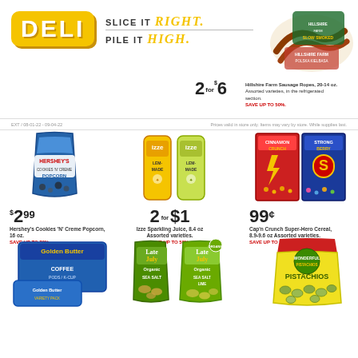[Figure (logo): DELI logo in yellow rounded rectangle with tagline SLICE IT Right. PILE IT High.]
[Figure (photo): Hillshire Farm Sausage Ropes product packages]
2 for $6 Hillshire Farm Sausage Ropes, 20-14 oz. Assorted varieties, in the refrigerated section. SAVE UP TO 50%.
EXT / 08-01-22 - 09-04-22   Prices valid in store only. Items may vary by store. While supplies last.
[Figure (photo): Hershey's Cookies 'N' Creme Popcorn bag, 16 oz]
$2.99 Hershey's Cookies 'N' Creme Popcorn, 16 oz. SAVE UP TO 70%.
[Figure (photo): Izze Sparkling Juice cans, 8.4 oz, two cans shown]
2 for $1 Izze Sparkling Juice, 8.4 oz Assorted varieties. SAVE UP TO 58%.
[Figure (photo): Cap'n Crunch Super Hero Cereal boxes, 8.9-9.6 oz]
99¢ Cap'n Crunch Super-Hero Cereal, 8.9-9.6 oz Assorted varieties. SAVE UP TO 74%.
[Figure (photo): Golden Butter coffee box]
[Figure (photo): Late July Organic Sea Salt and Sea Salt Lime chip bags]
[Figure (photo): Wonderful Pistachios bag]